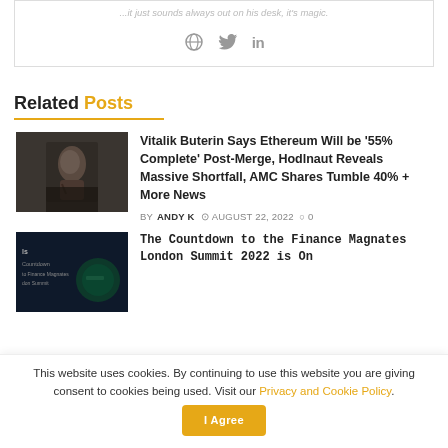[Figure (other): Social sharing icons: globe, Twitter bird, LinkedIn 'in' — shown in gray]
Related Posts
[Figure (photo): Dark photo of Vitalik Buterin speaking on stage, gesturing with hand raised]
Vitalik Buterin Says Ethereum Will be '55% Complete' Post-Merge, Hodlnaut Reveals Massive Shortfall, AMC Shares Tumble 40% + More News
BY ANDY K  AUGUST 22, 2022  0
[Figure (photo): Dark promotional image for Finance Magnates London Summit 2022 with logo and green circle graphic]
The Countdown to the Finance Magnates London Summit 2022 is On
This website uses cookies. By continuing to use this website you are giving consent to cookies being used. Visit our Privacy and Cookie Policy.